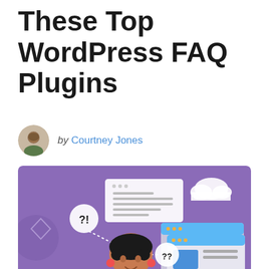These Top WordPress FAQ Plugins
by Courtney Jones
[Figure (illustration): Purple background illustration showing a person with question marks (?! and ??) in speech bubbles, browser windows with content, and a cloud icon — representing FAQ and web browsing concepts.]
Every great website needs a FAQ